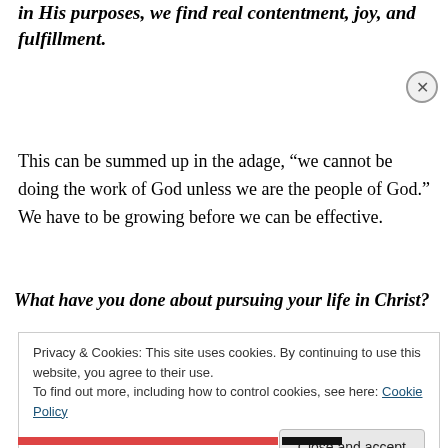in His purposes, we find real contentment, joy, and fulfillment.
This can be summed up in the adage, “we cannot be doing the work of God unless we are the people of God.” We have to be growing before we can be effective.
What have you done about pursuing your life in Christ?
Privacy & Cookies: This site uses cookies. By continuing to use this website, you agree to their use.
To find out more, including how to control cookies, see here: Cookie Policy
Close and accept